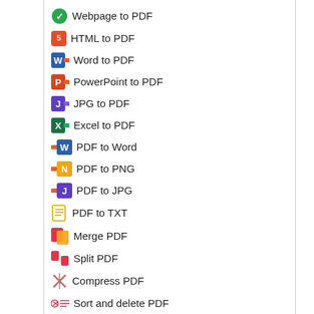Webpage to PDF
HTML to PDF
Word to PDF
PowerPoint to PDF
JPG to PDF
Excel to PDF
PDF to Word
PDF to PNG
PDF to JPG
PDF to TXT
Merge PDF
Split PDF
Compress PDF
Sort and delete PDF
Unlock PDF